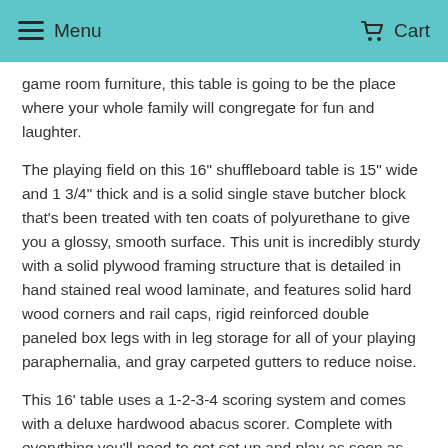Menu   Cart
game room furniture, this table is going to be the place where your whole family will congregate for fun and laughter.
The playing field on this 16" shuffleboard table is 15" wide and 1 3/4" thick and is a solid single stave butcher block that's been treated with ten coats of polyurethane to give you a glossy, smooth surface. This unit is incredibly sturdy with a solid plywood framing structure that is detailed in hand stained real wood laminate, and features solid hard wood corners and rail caps, rigid reinforced double paneled box legs with in leg storage for all of your playing paraphernalia, and gray carpeted gutters to reduce noise.
This 16' table uses a 1-2-3-4 scoring system and comes with a deluxe hardwood abacus scorer. Complete with everything you'll need to get set up and play as soon as you get this beautiful Playcraft Georgetown 16' shuffleboard table home. This unit includes 6" leg